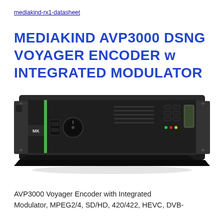mediakind-rx1-datasheet
MEDIAKIND AVP3000 DSNG VOYAGER ENCODER w INTEGRATED MODULATOR
[Figure (photo): Front panel view of the MediaKind AVP3000 rack-mount encoder unit with MK logo, green accent strip, knob, display panel, and rack handles on both sides]
AVP3000 Voyager Encoder with Integrated Modulator, MPEG2/4, SD/HD, 420/422, HEVC, DVB-